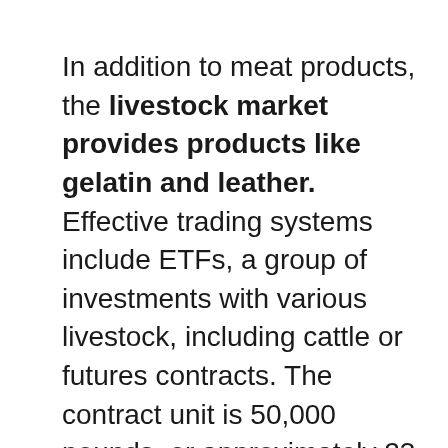In addition to meat products, the livestock market provides products like gelatin and leather. Effective trading systems include ETFs, a group of investments with various livestock, including cattle or futures contracts. The contract unit is 50,000 pounds, or approximately 23 metric tons, for cattle. There are two categories: feeder cattle and live ...